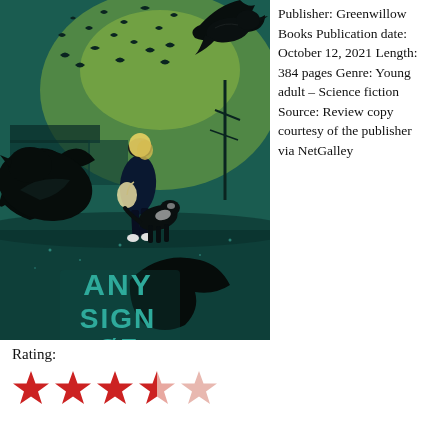[Figure (illustration): Book cover for 'Any Sign of Life' showing a girl with blonde hair walking away with a dog, large black ravens/crows in foreground and background, teal/green moody sky with birds, text 'ANY SIGN OF LIFE' in teal lettering]
Publisher: Greenwillow Books Publication date: October 12, 2021 Length: 384 pages Genre: Young adult – Science fiction Source: Review copy courtesy of the publisher via NetGalley
Rating:
[Figure (other): Star rating: 4 out of 5 stars (3 full red stars, 1 half red/pink star, 1 light pink star)]